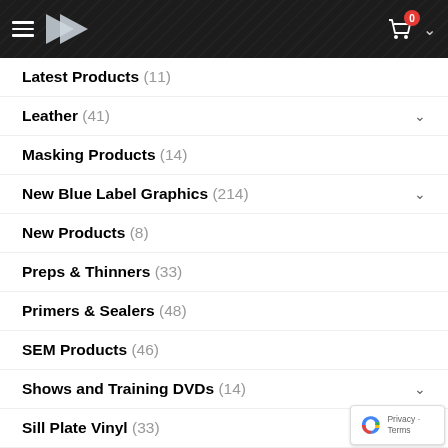Navigation header with hamburger menu, logo, cart icon with badge 0
Latest Products (11)
Leather (41)
Masking Products (14)
New Blue Label Graphics (214)
New Products (8)
Preps & Thinners (33)
Primers & Sealers (48)
SEM Products (46)
Shows and Training DVDs (14)
Sill Plate Vinyl (33)
Specials (33)
Spraying Equipment (29)
Stain Removers (19)
Texturing Products (59)